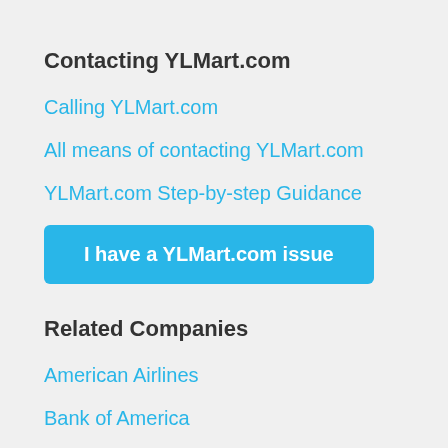Contacting YLMart.com
Calling YLMart.com
All means of contacting YLMart.com
YLMart.com Step-by-step Guidance
[Figure (other): Blue call-to-action button labeled 'I have a YLMart.com issue']
Related Companies
American Airlines
Bank of America
Boost Mobile